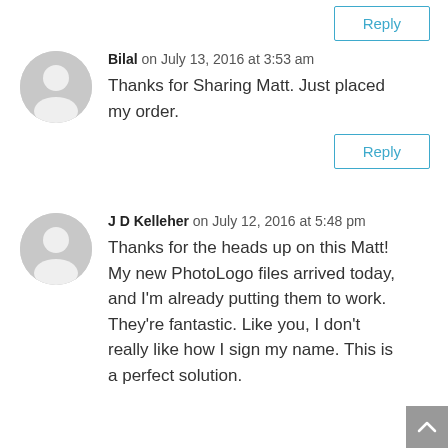Reply (partial, top of page)
Bilal on July 13, 2016 at 3:53 am
Thanks for Sharing Matt. Just placed my order.
Reply
J D Kelleher on July 12, 2016 at 5:48 pm
Thanks for the heads up on this Matt! My new PhotoLogo files arrived today, and I'm already putting them to work. They're fantastic. Like you, I don't really like how I sign my name. This is a perfect solution.